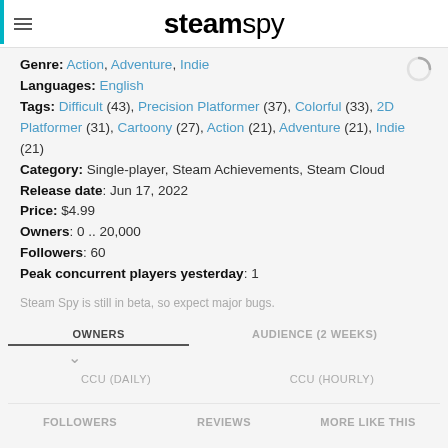steamspy
Genre: Action, Adventure, Indie
Languages: English
Tags: Difficult (43), Precision Platformer (37), Colorful (33), 2D Platformer (31), Cartoony (27), Action (21), Adventure (21), Indie (21)
Category: Single-player, Steam Achievements, Steam Cloud
Release date: Jun 17, 2022
Price: $4.99
Owners: 0 .. 20,000
Followers: 60
Peak concurrent players yesterday: 1
Steam Spy is still in beta, so expect major bugs.
OWNERS | AUDIENCE (2 WEEKS) | CCU (DAILY) | CCU (HOURLY) | FOLLOWERS | REVIEWS | MORE LIKE THIS